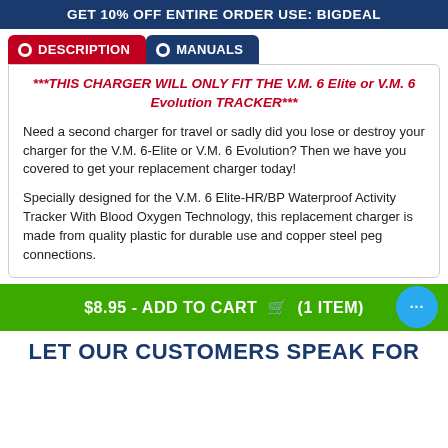GET 10% OFF ENTIRE ORDER USE: BIGDEAL
DESCRIPTION | MANUALS
***THIS CHARGER WILL ONLY FIT THE V.M. 6 Elite or V.M. 6 Evolution TRACKER***
Need a second charger for travel or sadly did you lose or destroy your charger for the V.M. 6-Elite or V.M. 6 Evolution? Then we have you covered to get your replacement charger today!
Specially designed for the V.M. 6 Elite-HR/BP Waterproof Activity Tracker With Blood Oxygen Technology, this replacement charger is made from quality plastic for durable use and copper steel peg connections.
$8.95 - ADD TO CART  (1 ITEM)
LET OUR CUSTOMERS SPEAK FOR